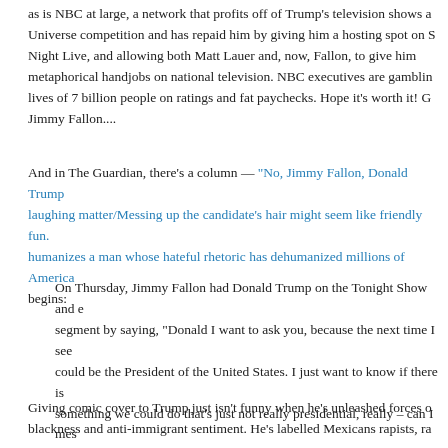as is NBC at large, a network that profits off of Trump's television shows and Miss Universe competition and has repaid him by giving him a hosting spot on Saturday Night Live, and allowing both Matt Lauer and, now, Fallon, to give him metaphorical handjobs on national television. NBC executives are gambling the lives of 7 billion people on ratings and fat paychecks. Hope it's worth it! Go get 'em Jimmy Fallon....
And in The Guardian, there's a column — "No, Jimmy Fallon, Donald Trump is no laughing matter/Messing up the candidate's hair might seem like friendly fun. But it humanizes a man whose hateful rhetoric has dehumanized millions of Americans" — that begins:
On Thursday, Jimmy Fallon had Donald Trump on the Tonight Show and ended the segment by saying, "Donald I want to ask you, because the next time I see you, you could be the President of the United States. I just want to know if there is something we could do that's just not really presidential, really – can I mess your hair up?" Trump let him and the NBC audience roared with laughter. But, for many of us, this is very far from being a joke.
Giving comic cover to Trump just isn't funny when he's unleashed forces of anti-blackness and anti-immigrant sentiment. He's labelled Mexicans rapists, ra...